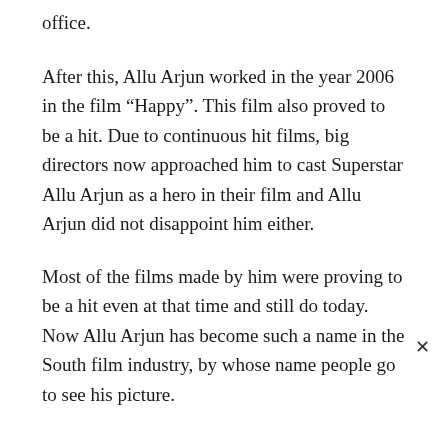office.
After this, Allu Arjun worked in the year 2006 in the film “Happy”. This film also proved to be a hit. Due to continuous hit films, big directors now approached him to cast Superstar Allu Arjun as a hero in their film and Allu Arjun did not disappoint him either.
Most of the films made by him were proving to be a hit even at that time and still do today. Now Allu Arjun has become such a name in the South film industry, by whose name people go to see his picture.